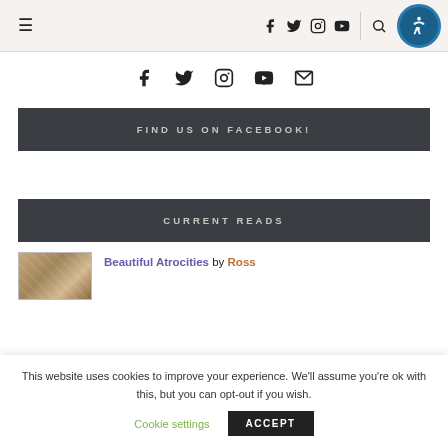Navigation bar with hamburger menu, social icons (f, twitter, instagram, youtube), search, and accessibility button
[Figure (infographic): Social media icons row: Facebook, Twitter, Instagram, YouTube, Email]
FIND US ON FACEBOOK!
CURRENT READS
Beautiful Atrocities by Ross
This website uses cookies to improve your experience. We'll assume you're ok with this, but you can opt-out if you wish.
Cookie settings   ACCEPT